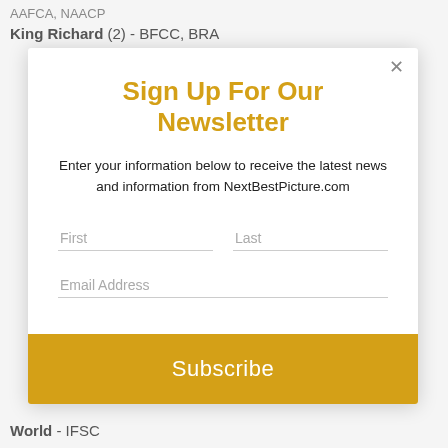AAFCA, NAACP
King Richard (2) - BFCC, BRA
Sign Up For Our Newsletter
Enter your information below to receive the latest news and information from NextBestPicture.com
World - IFSC